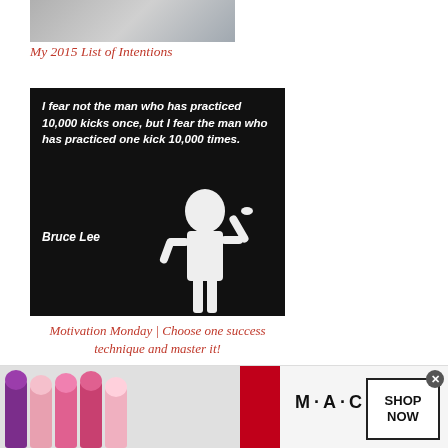[Figure (photo): Partial photo of a person, cropped at top of page]
My 2015 List of Intentions
[Figure (illustration): Black background image with Bruce Lee silhouette and quote: 'I fear not the man who has practiced 10,000 kicks once, but I fear the man who has practiced one kick 10,000 times. Bruce Lee']
Motivation Monday | Choose one success technique and master it!
[Figure (screenshot): MAC cosmetics advertisement banner showing lipsticks with SHOP NOW button]